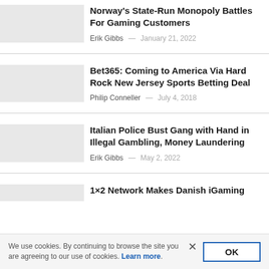Norway's State-Run Monopoly Battles For Gaming Customers
Erik Gibbs — January 21, 2022
Bet365: Coming to America Via Hard Rock New Jersey Sports Betting Deal
Philip Conneller — July 4, 2018
Italian Police Bust Gang with Hand in Illegal Gambling, Money Laundering
Erik Gibbs — May 2, 2022
1×2 Network Makes Danish iGaming
We use cookies. By continuing to browse the site you are agreeing to our use of cookies. Learn more.